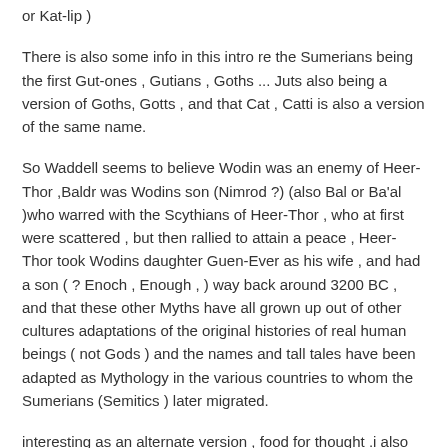or Kat-lip )
There is also some info in this intro re the Sumerians being the first Gut-ones , Gutians , Goths ... Juts also being a version of Goths, Gotts , and that Cat , Catti is also a version of the same name.
So Waddell seems to believe Wodin was an enemy of Heer-Thor ,Baldr was Wodins son (Nimrod ?) (also Bal or Ba'al )who warred with the Scythians of Heer-Thor , who at first were scattered , but then rallied to attain a peace , Heer-Thor took Wodins daughter Guen-Ever as his wife , and had a son ( ? Enoch , Enough , ) way back around 3200 BC , and that these other Myths have all grown up out of other cultures adaptations of the original histories of real human beings ( not Gods ) and the names and tall tales have been adapted as Mythology in the various countries to whom the Sumerians (Semitics ) later migrated.
interesting as an alternate version , food for thought .i also have a link to the actual Edda if
anyone wants to read it , it is online . Just wish that as in Sandbach's trans of OLB , Waddell had
included the Old English/or Anglo Saxon original words , beside his